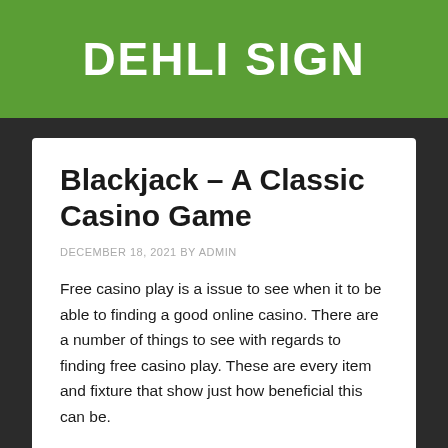DEHLI SIGN
Blackjack – A Classic Casino Game
DECEMBER 18, 2021 BY ADMIN
Free casino play is a issue to see when it to be able to finding a good online casino. There are a number of things to see with regards to finding free casino play. These are every item and fixture that show just how beneficial this can be.